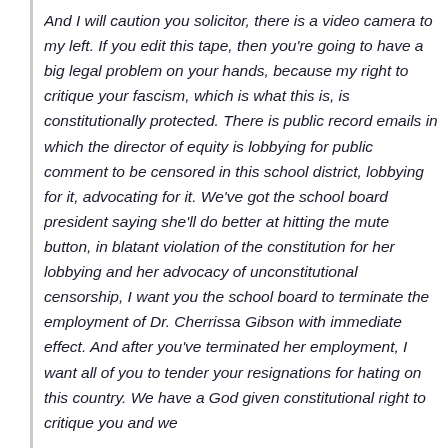And I will caution you solicitor, there is a video camera to my left. If you edit this tape, then you're going to have a big legal problem on your hands, because my right to critique your fascism, which is what this is, is constitutionally protected. There is public record emails in which the director of equity is lobbying for public comment to be censored in this school district, lobbying for it, advocating for it. We've got the school board president saying she'll do better at hitting the mute button, in blatant violation of the constitution for her lobbying and her advocacy of unconstitutional censorship, I want you the school board to terminate the employment of Dr. Cherrissa Gibson with immediate effect. And after you've terminated her employment, I want all of you to tender your resignations for hating on this country. We have a God given constitutional right to critique you and we...